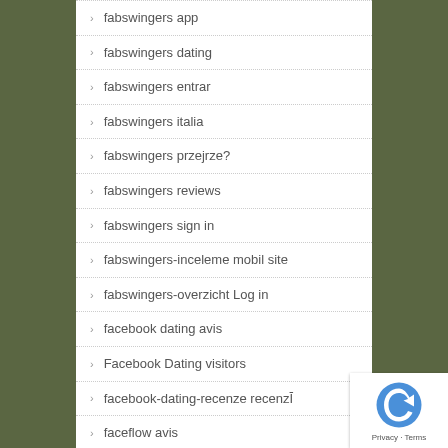fabswingers app
fabswingers dating
fabswingers entrar
fabswingers italia
fabswingers przejrze?
fabswingers reviews
fabswingers sign in
fabswingers-inceleme mobil site
fabswingers-overzicht Log in
facebook dating avis
Facebook Dating visitors
facebook-dating-recenze recenzĪ
faceflow avis
faceflow come funziona
faceflow italia